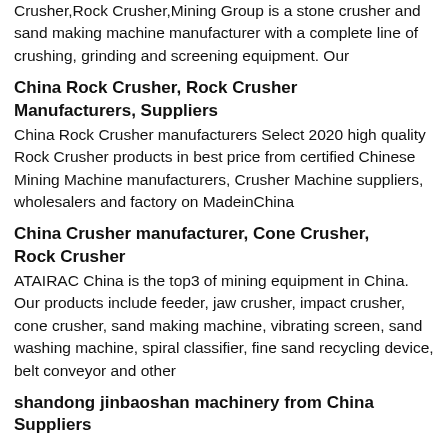Crusher,Rock Crusher,Mining Group is a stone crusher and sand making machine manufacturer with a complete line of crushing, grinding and screening equipment. Our
China Rock Crusher, Rock Crusher Manufacturers, Suppliers
China Rock Crusher manufacturers Select 2020 high quality Rock Crusher products in best price from certified Chinese Mining Machine manufacturers, Crusher Machine suppliers, wholesalers and factory on MadeinChina
China Crusher manufacturer, Cone Crusher, Rock Crusher
ATAIRAC China is the top3 of mining equipment in China. Our products include feeder, jaw crusher, impact crusher, cone crusher, sand making machine, vibrating screen, sand washing machine, spiral classifier, fine sand recycling device, belt conveyor and other
shandong jinbaoshan machinery from China Suppliers